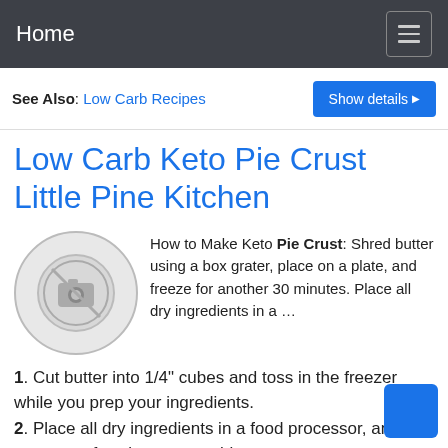Home
See Also: Low Carb Recipes  Show details
Low Carb Keto Pie Crust Little Pine Kitchen
[Figure (photo): Placeholder image thumbnail showing a camera icon in a circle]
How to Make Keto Pie Crust: Shred butter using a box grater, place on a plate, and freeze for another 30 minutes. Place all dry ingredients in a …
1. Cut butter into 1/4" cubes and toss in the freezer while you prep your ingredients.
2. Place all dry ingredients in a food processor, and process a few times to combine.
3. Add butter (7 1/2 Tablespoons), whisked egg (1), and egg